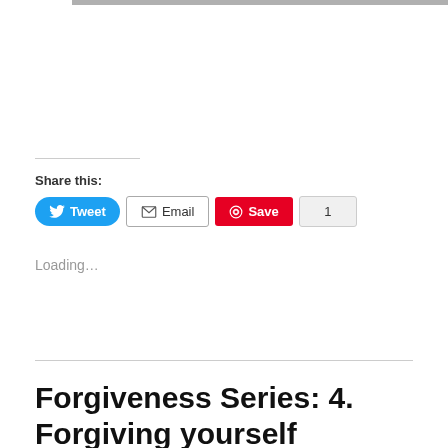[Figure (other): Top gray bar/header strip]
Share this:
Tweet  Email  Save  1
Loading…
Forgiveness Series: 4. Forgiving yourself